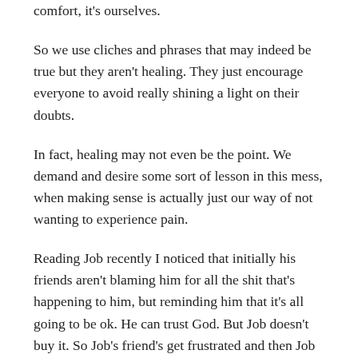comfort, it's ourselves.
So we use cliches and phrases that may indeed be true but they aren't healing. They just encourage everyone to avoid really shining a light on their doubts.
In fact, healing may not even be the point. We demand and desire some sort of lesson in this mess, when making sense is actually just our way of not wanting to experience pain.
Reading Job recently I noticed that initially his friends aren't blaming him for all the shit that's happening to him, but reminding him that it's all going to be ok. He can trust God. But Job doesn't buy it. So Job's friend's get frustrated and then Job gets frustrated and the whole thing goes back and forth for 42 chapters!